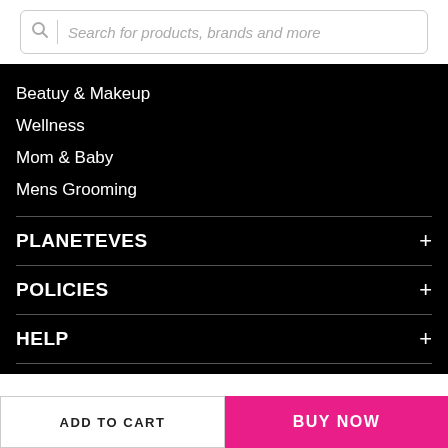[Figure (screenshot): Search bar with magnifying glass icon and placeholder text 'Search for products, brands and more']
Beatuy & Makeup
Wellness
Mom & Baby
Mens Grooming
PLANETEVES
POLICIES
HELP
FOLLOW US ON
[Figure (illustration): Three social media icons in circles: Facebook (f), Twitter (bird), Instagram (camera)]
ADD TO CART
BUY NOW